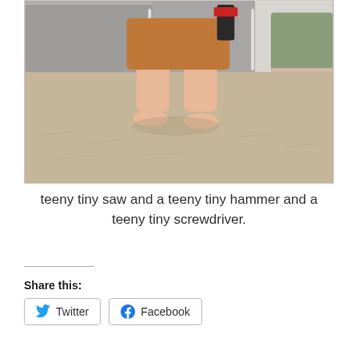[Figure (photo): A toddler/young child standing on a carpet wearing orange/brown shorts, holding small toy tools (saw, hammer, screwdriver). The child is barefoot and photographed from the waist down. Couch and pillows visible in background.]
teeny tiny saw and a teeny tiny hammer and a teeny tiny screwdriver.
Share this: